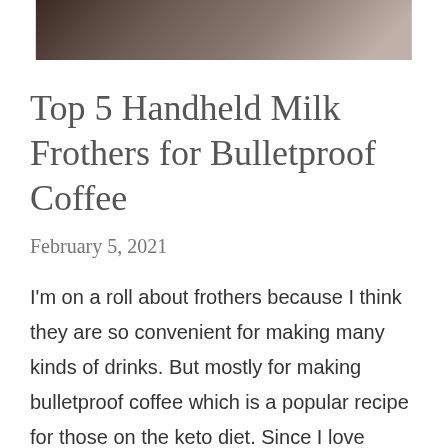[Figure (photo): Partial photo of a person or scene, cropped at top, dark tones with brown/warm colors]
Top 5 Handheld Milk Frothers for Bulletproof Coffee
February 5, 2021
I'm on a roll about frothers because I think they are so convenient for making many kinds of drinks. But mostly for making bulletproof coffee which is a popular recipe for those on the keto diet. Since I love coffee, I understa why people on keto would want to make … Read